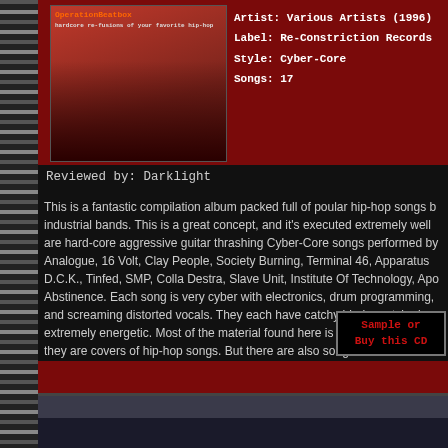[Figure (photo): Album cover for Operation Beatbox compilation CD]
Artist: Various Artists (1996)
Label: Re-Constriction Records
Style: Cyber-Core
Songs: 17
Reviewed by: Darklight
This is a fantastic compilation album packed full of poular hip-hop songs b industrial bands. This is a great concept, and it's executed extremely well are hard-core aggressive guitar thrashing Cyber-Core songs performed by Analogue, 16 Volt, Clay People, Society Burning, Terminal 46, Apparatus D.C.K., Tinfed, SMP, Colla Destra, Slave Unit, Institute Of Technology, Ap Abstinence. Each song is very cyber with electronics, drum programming, and screaming distorted vocals. They each have catchy hip-hop style rhy extremely energetic. Most of the material found here is so thrashy that yo they are covers of hip-hop songs. But there are also songs here that soun original versions, but are much harder and punk style. My favorite songs "Natural Born Killaz", "Colors", "Night Of The Living Bassheads", "The De "Push It", "King Of Rock", and "Can You Rock It Like This". However, I li album. There isn't a bad song to be found here. This album delivers seve that I just can't stop listening to. If you're a Cyber-Core music fan, or are j something different, you can't go wrong with this album.
Sample or Buy this CD